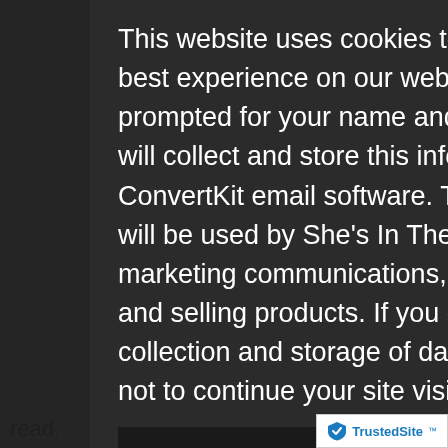d: IP
ged in),
0), user
estamp of
e.
acked with
oll down to
of posts
has enabled
ure, a page
ropriate
ditional
This website uses cookies to ensure you get the best experience on our website. When you are prompted for your name and email address, we will collect and store this information via ConvertKit email software. This personal data will be used by She's In The Money for marketing communications, internal analytics, and selling products. If you do not consent to our collection and storage of data, you may choose not to continue your site visit. Learn More.
Okay, got it!
[Figure (logo): TrustedSite badge with checkmark shield icon]
read.